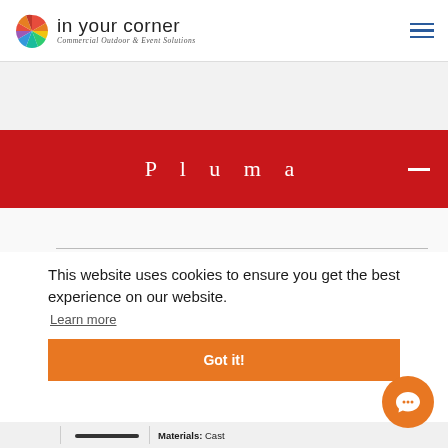in your corner — Commercial Outdoor & Event Solutions
Pluma
This website uses cookies to ensure you get the best experience on our website.
Learn more
Got it!
Materials: Cast